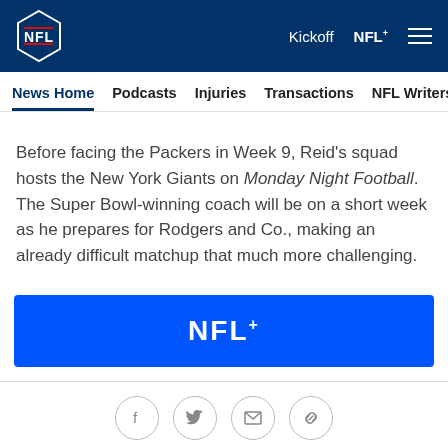NFL | Kickoff  NFL+
News Home  Podcasts  Injuries  Transactions  NFL Writers  Se
Before facing the Packers in Week 9, Reid's squad hosts the New York Giants on Monday Night Football. The Super Bowl-winning coach will be on a short week as he prepares for Rodgers and Co., making an already difficult matchup that much more challenging.
[Figure (logo): NFL+ blue banner logo]
[Figure (infographic): Social share icons: Facebook, Twitter, Email, Link]